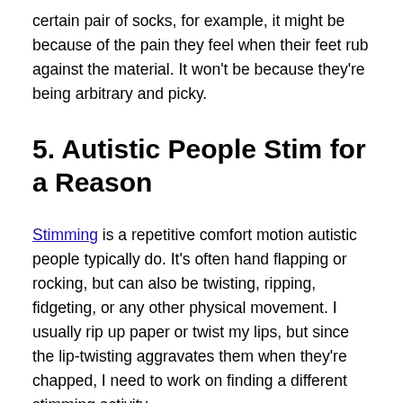certain pair of socks, for example, it might be because of the pain they feel when their feet rub against the material. It won't be because they're being arbitrary and picky.
5. Autistic People Stim for a Reason
Stimming is a repetitive comfort motion autistic people typically do. It's often hand flapping or rocking, but can also be twisting, ripping, fidgeting, or any other physical movement. I usually rip up paper or twist my lips, but since the lip-twisting aggravates them when they're chapped, I need to work on finding a different stimming activity.